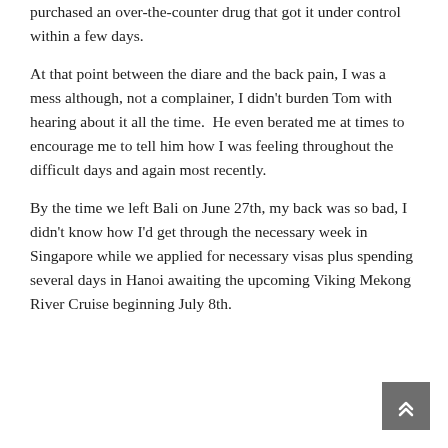purchased an over-the-counter drug that got it under control within a few days.
At that point between the diare and the back pain, I was a mess although, not a complainer, I didn't burden Tom with hearing about it all the time.  He even berated me at times to encourage me to tell him how I was feeling throughout the difficult days and again most recently.
By the time we left Bali on June 27th, my back was so bad, I didn't know how I'd get through the necessary week in Singapore while we applied for necessary visas plus spending several days in Hanoi awaiting the upcoming Viking Mekong River Cruise beginning July 8th.